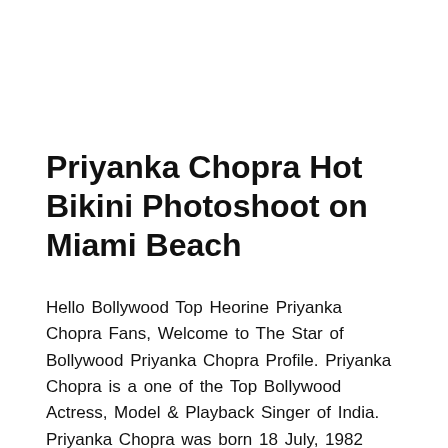Priyanka Chopra Hot Bikini Photoshoot on Miami Beach
Hello Bollywood Top Heorine Priyanka Chopra Fans, Welcome to The Star of Bollywood Priyanka Chopra Profile. Priyanka Chopra is a one of the Top Bollywood Actress, Model & Playback Singer of India. Priyanka Chopra was born 18 July, 1982 (Priyanka Chopra age 34 Years) in Jamshedpur, Bihar, India. Priyanka Chopra is a Successfull Indian one of the Top Bollywood Actress, Playback Singer and Philanthropist. Priyanka Chopra is a Winner of the